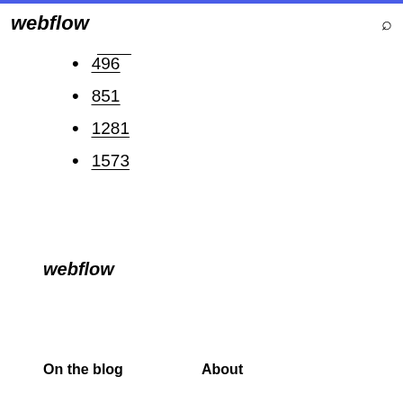webflow
496
851
1281
1573
webflow
On the blog   About